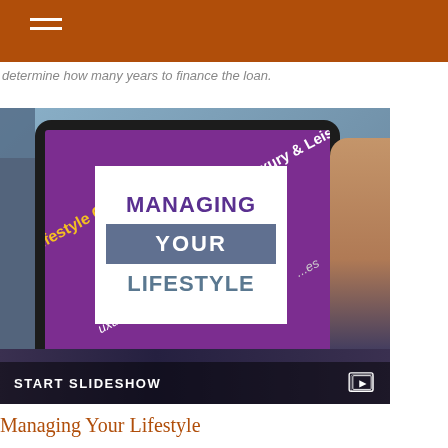determine how many years to finance the loan.
[Figure (screenshot): Screenshot of a tablet displaying a purple 'Lifestyle Choices / Luxury & Leisure' interface with a white overlay box showing 'MANAGING YOUR LIFESTYLE' text, held by a person's hands. A 'START SLIDESHOW' bar appears at the bottom with a video icon.]
Managing Your Lifestyle